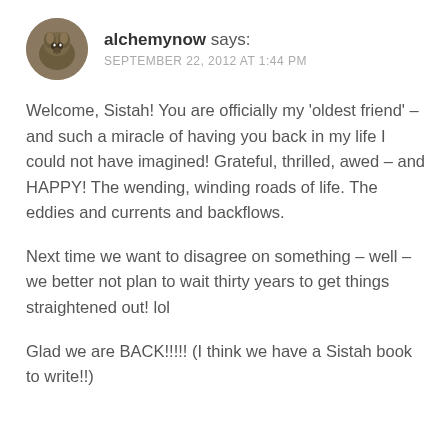[Figure (photo): Circular avatar photo of an animal (possibly a groundhog or beaver) used as a user profile picture]
alchemynow says:
SEPTEMBER 22, 2012 AT 1:44 PM
Welcome, Sistah! You are officially my 'oldest friend' – and such a miracle of having you back in my life I could not have imagined! Grateful, thrilled, awed – and HAPPY! The wending, winding roads of life. The eddies and currents and backflows.
Next time we want to disagree on something – well – we better not plan to wait thirty years to get things straightened out! lol
Glad we are BACK!!!!! (I think we have a Sistah book to write!!)